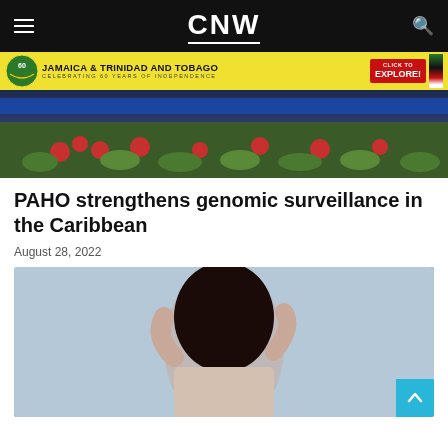CNW
[Figure (photo): Advertisement banner: Jamaica & Trinidad and Tobago celebrating 60 years of independence, with yellow background, flag colors, and red CLICK TO EXPLORE button]
[Figure (photo): Conference room scene with people seated at a long blue-draped table with tropical floral arrangements in foreground]
PAHO strengthens genomic surveillance in the Caribbean
August 28, 2022
[Figure (photo): Black woman with braided hair adorned with gold accessories, wearing a light pink/beige knit top, against a light blue background]